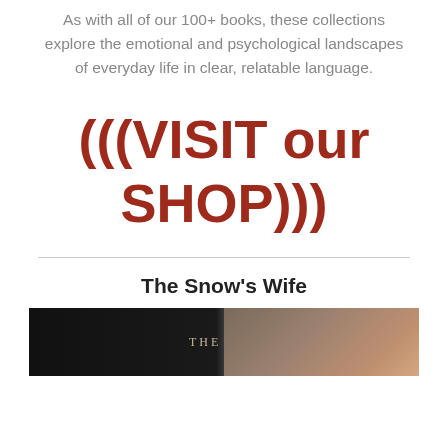As with all of our 100+ books, these collections explore the emotional and psychological landscapes of everyday life in clear, relatable language.
(((VISIT our SHOP)))
The Snow's Wife
[Figure (photo): Book cover image showing dark left half with text 'THE' and right half showing a person's face/portrait]